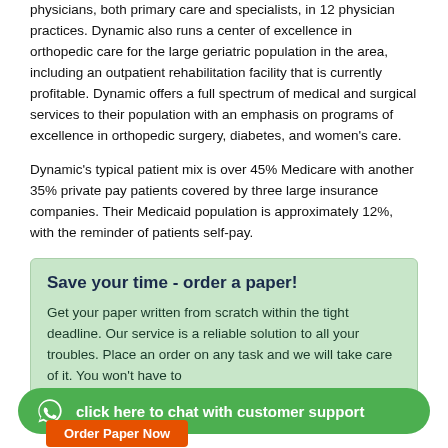physicians, both primary care and specialists, in 12 physician practices. Dynamic also runs a center of excellence in orthopedic care for the large geriatric population in the area, including an outpatient rehabilitation facility that is currently profitable. Dynamic offers a full spectrum of medical and surgical services to their population with an emphasis on programs of excellence in orthopedic surgery, diabetes, and women's care.
Dynamic's typical patient mix is over 45% Medicare with another 35% private pay patients covered by three large insurance companies. Their Medicaid population is approximately 12%, with the reminder of patients self-pay.
Save your time - order a paper!

Get your paper written from scratch within the tight deadline. Our service is a reliable solution to all your troubles. Place an order on any task and we will take care of it. You won't have to
click here to chat with customer support
Order Paper Now